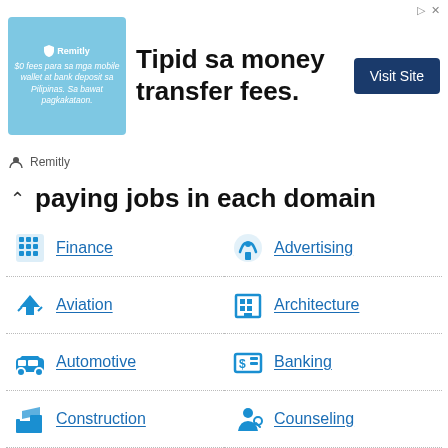[Figure (screenshot): Remitly advertisement banner with text 'Tipid sa money transfer fees.' and a Visit Site button]
Best paying jobs in each domain
Finance
Advertising
Aviation
Architecture
Automotive
Banking
Construction
Counseling
Customer Service
Engineering
Management
Manufacturing
Fitness
Hospitality
Health
Human Resources